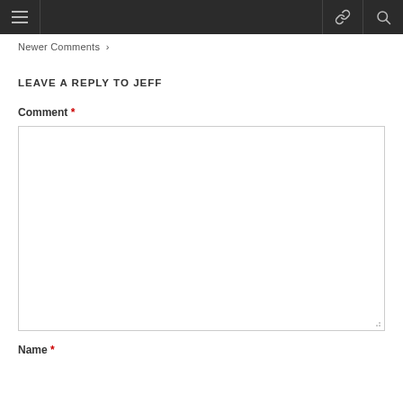Newer Comments
LEAVE A REPLY TO JEFF
Comment *
Name *